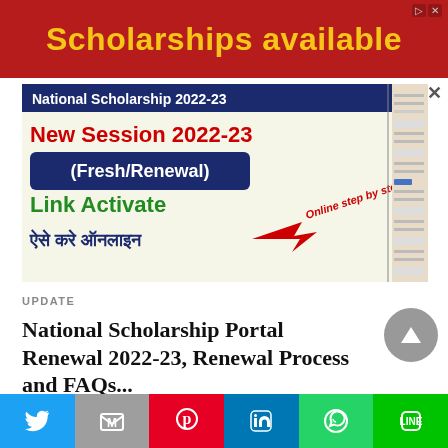[Figure (infographic): Red banner advertisement with gold text 'Scholarships available' and ad icons in top right corner]
[Figure (screenshot): Thumbnail image showing 'National Scholarship 2022-23 New Session 2022-23 (Fresh/Renewal) Link Activate ऐसे करे ऑनलाइन' with Online step by step text and arrow, alongside a form screenshot]
UPDATE
National Scholarship Portal Renewal 2022-23, Renewal Process and FAQs...
National Scholarship Portal Renewal 2022-23: The national
[Figure (infographic): Social media sharing bar with Twitter, Mail, Pinterest, LinkedIn, WhatsApp, and Line buttons]